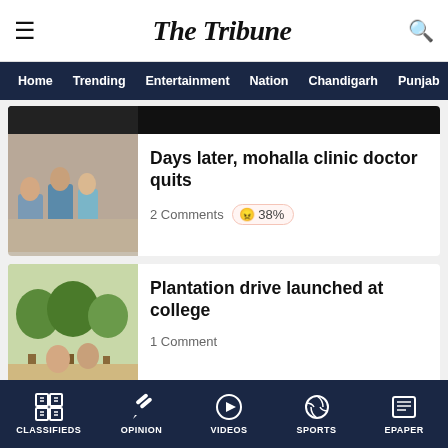The Tribune
Home | Trending | Entertainment | Nation | Chandigarh | Punjab
Days later, mohalla clinic doctor quits
2 Comments  38%
Plantation drive launched at college
1 Comment
r-old om Doraha canal; uncle confesses to murder
CLASSIFIEDS | OPINION | VIDEOS | SPORTS | EPAPER